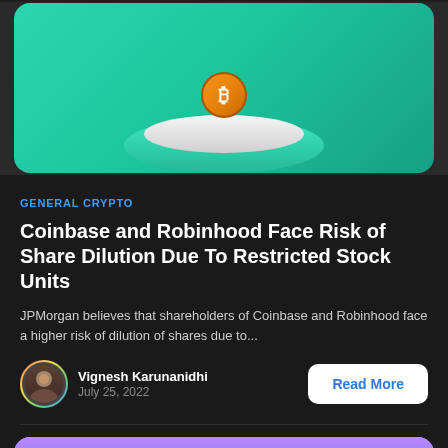[Figure (photo): Bitcoin coin floating above a white cylindrical pedestal on a teal/green gradient background]
GENERAL CRYPTO
Coinbase and Robinhood Face Risk of Share Dilution Due To Restricted Stock Units
JPMorgan believes that shareholders of Coinbase and Robinhood face a higher risk of dilution of shares due to...
Vignesh Karunanidhi
July 25, 2022
[Figure (photo): Pink and purple cloudy sky background image, partially visible at bottom of page]